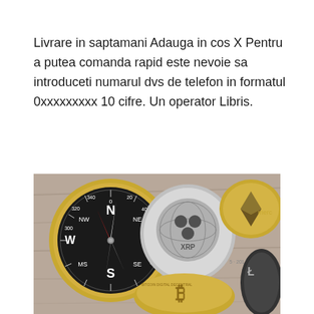Livrare in saptamani Adauga in cos X Pentru a putea comanda rapid este nevoie sa introduceti numarul dvs de telefon in formatul 0xxxxxxxxx 10 cifre. Un operator Libris.
[Figure (photo): Photo of a compass alongside cryptocurrency coins including XRP (Ripple), Bitcoin, and Ethereum on a wooden surface.]